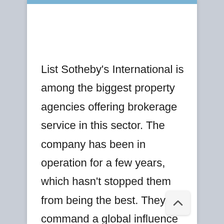List Sotheby's International is among the biggest property agencies offering brokerage service in this sector. The company has been in operation for a few years, which hasn't stopped them from being the best. They command a global influence in the real estate business and has a particular interest in Asian countries. The company made its inception in the Singaporean real estate industry in 2015 and